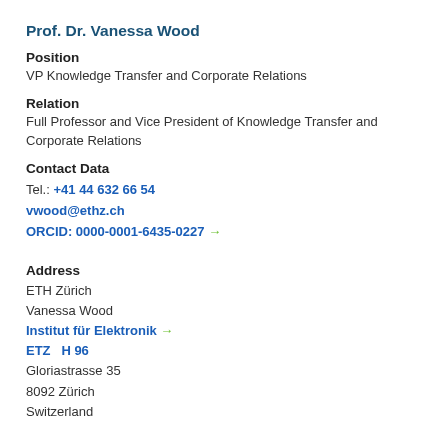Prof. Dr. Vanessa Wood
Position
VP Knowledge Transfer and Corporate Relations
Relation
Full Professor and Vice President of Knowledge Transfer and Corporate Relations
Contact Data
Tel.: +41 44 632 66 54
vwood@ethz.ch
ORCID: 0000-0001-6435-0227 →
Address
ETH Zürich
Vanessa Wood
Institut für Elektronik →
ETZ  H 96
Gloriastrasse 35
8092 Zürich
Switzerland